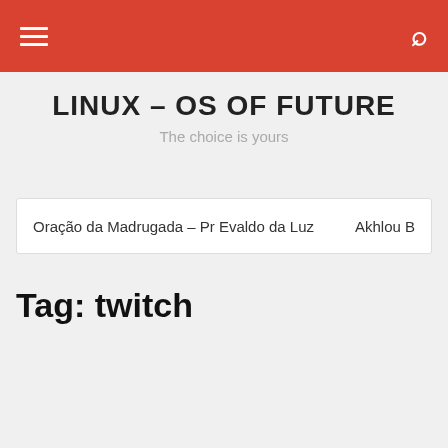LINUX – OS OF FUTURE | The choice is yours
LINUX – OS OF FUTURE
The choice is yours
Oração da Madrugada – Pr Evaldo da Luz    Akhlou B
Tag: twitch